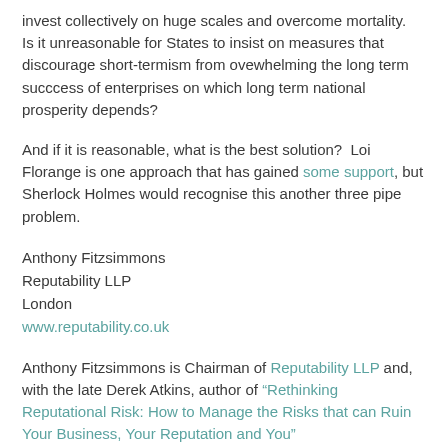invest collectively on huge scales and overcome mortality.  Is it unreasonable for States to insist on measures that discourage short-termism from ovewhelming the long term succcess of enterprises on which long term national prosperity depends?
And if it is reasonable, what is the best solution?  Loi Florange is one approach that has gained some support, but Sherlock Holmes would recognise this another three pipe problem.
Anthony Fitzsimmons
Reputability LLP
London
www.reputability.co.uk
Anthony Fitzsimmons is Chairman of Reputability LLP and, with the late Derek Atkins, author of "Rethinking Reputational Risk: How to Manage the Risks that can Ruin Your Business, Your Reputation and You"